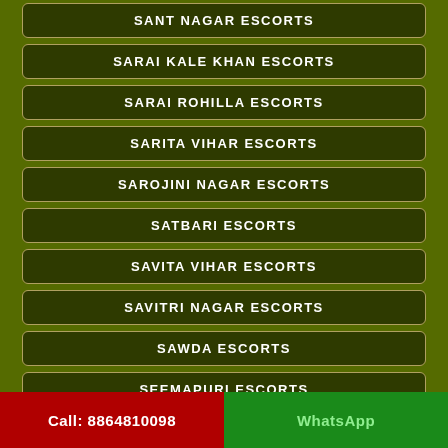SANT NAGAR ESCORTS
SARAI KALE KHAN ESCORTS
SARAI ROHILLA ESCORTS
SARITA VIHAR ESCORTS
SAROJINI NAGAR ESCORTS
SATBARI ESCORTS
SAVITA VIHAR ESCORTS
SAVITRI NAGAR ESCORTS
SAWDA ESCORTS
SEEMAPURI ESCORTS
SHADIPUR ESCORTS
SHAHDARA ESCORTS
Call: 8864810098    WhatsApp